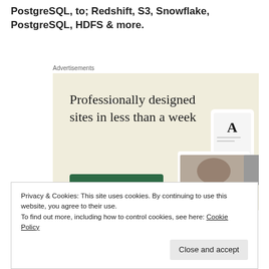PostgreSQL, to; Redshift, S3, Snowflake, PostgreSQL, HDFS & more.
Advertisements
[Figure (illustration): Advertisement banner with beige background. Large serif text reads 'Professionally designed sites in less than a week' with a green 'Explore options' button. Right side shows website mockup screenshots including food photography and a logo.]
Privacy & Cookies: This site uses cookies. By continuing to use this website, you agree to their use.
To find out more, including how to control cookies, see here: Cookie Policy
Close and accept